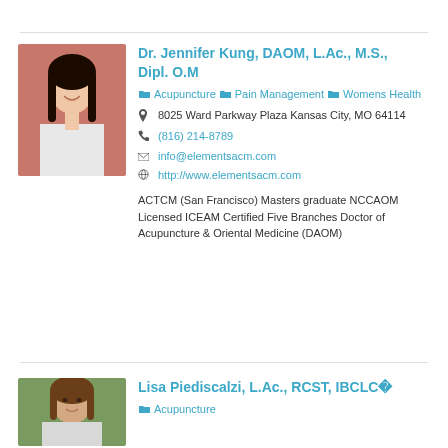Dr. Jennifer Kung, DAOM, L.Ac., M.S., Dipl. O.M
Acupuncture   Pain Management   Womens Health
8025 Ward Parkway Plaza Kansas City, MO 64114
(816) 214-8789
info@elementsacm.com
http://www.elementsacm.com
ACTCM (San Francisco) Masters graduate NCCAOM Licensed ICEAM Certified Five Branches Doctor of Acupuncture & Oriental Medicine (DAOM)
[Figure (photo): Headshot of Dr. Jennifer Kung, a woman with long dark hair, smiling, in front of a salmon/pink background]
Lisa Piediscalzi, L.Ac., RCST, IBCLC�
Acupuncture
[Figure (photo): Headshot of Lisa Piediscalzi, a woman with medium-length brown hair, outdoors with foliage background]